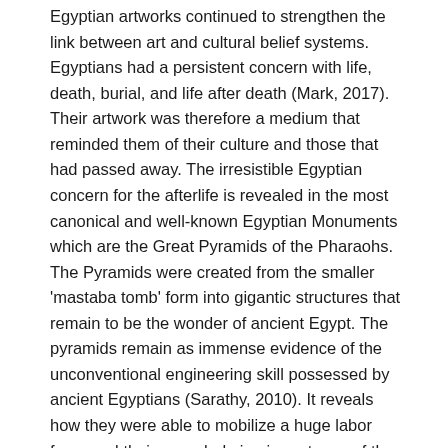Egyptian artworks continued to strengthen the link between art and cultural belief systems. Egyptians had a persistent concern with life, death, burial, and life after death (Mark, 2017). Their artwork was therefore a medium that reminded them of their culture and those that had passed away. The irresistible Egyptian concern for the afterlife is revealed in the most canonical and well-known Egyptian Monuments which are the Great Pyramids of the Pharaohs. The Pyramids were created from the smaller 'mastaba tomb' form into gigantic structures that remain to be the wonder of ancient Egypt. The pyramids remain as immense evidence of the unconventional engineering skill possessed by ancient Egyptians (Sarathy, 2010). It reveals how they were able to mobilize a huge labor force and their overwhelming importance of the afterlife.
Historical Significance of the Egyptian Artworks
Artworks tell us more about how people were, what they used to do and how their activities influence the present. Egyptian